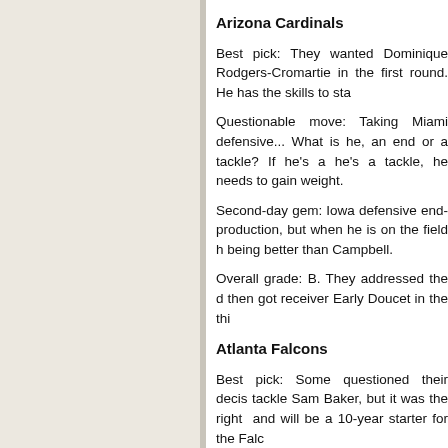Arizona Cardinals
Best pick: They wanted Dominique Rodgers-Cromartie in the first round. He has the skills to sta...
Questionable move: Taking Miami defe... What is he, an end or a tackle? If he's a... he's a tackle, he needs to gain weight.
Second-day gem: Iowa defensive end... production, but when he is on the field h... being better than Campbell.
Overall grade: B. They addressed the d... then got receiver Early Doucet in the thi...
Atlanta Falcons
Best pick: Some questioned their decis... tackle Sam Baker, but it was the right ... and will be a 10-year starter for the Falc...
Questionable move: Taking Matt Ryan... Ryan isn't the franchise passer they exp...
Second-day gem: LSU corner Chevis J... well as scouts like, but he has everythi... next level.
Overall grade: B. I wouldn't have select... get it. The rest of the draft was very g...